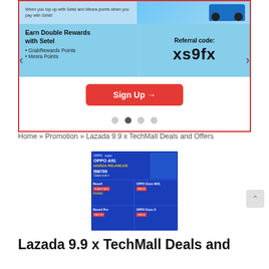[Figure (screenshot): Carousel banner ad for Setel app showing 'Earn Double Rewards with Setel' with GrabRewards Points and Mesra Points bullets, referral code xs9fx, a blue car image, Sign Up button, and navigation dots. Red border around carousel.]
Home » Promotion » Lazada 9.9 x TechMall Deals and Offers
[Figure (photo): OPPO product promotional banner for Lazada 9.9 x TechMall sale showing OPPO A91, Reno4, Zone X and other models on a blue background with prices in RM]
Lazada 9.9 x TechMall Deals and